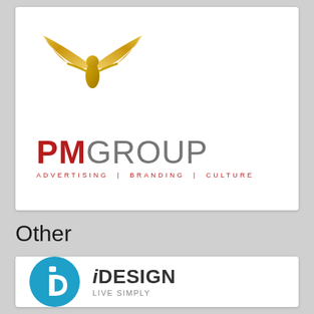[Figure (logo): PM Group logo with golden angel/winged figure above text. Bold red 'PM' and grey 'GROUP' with tagline 'ADVERTISING | BRANDING | CULTURE' in red small caps]
Other
[Figure (logo): iDesign logo: blue circle with white 'iD' symbol, text 'iDESIGN' in dark grey bold with tagline 'LIVE SIMPLY' in light grey]